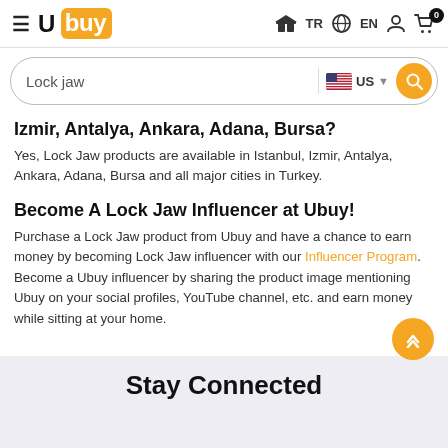Ubuy — TR EN (cart: 0) | Search: Lock jaw | US
Izmir, Antalya, Ankara, Adana, Bursa?
Yes, Lock Jaw products are available in Istanbul, Izmir, Antalya, Ankara, Adana, Bursa and all major cities in Turkey.
Become A Lock Jaw Influencer at Ubuy!
Purchase a Lock Jaw product from Ubuy and have a chance to earn money by becoming Lock Jaw influencer with our Influencer Program. Become a Ubuy influencer by sharing the product image mentioning Ubuy on your social profiles, YouTube channel, etc. and earn money while sitting at your home.
Stay Connected